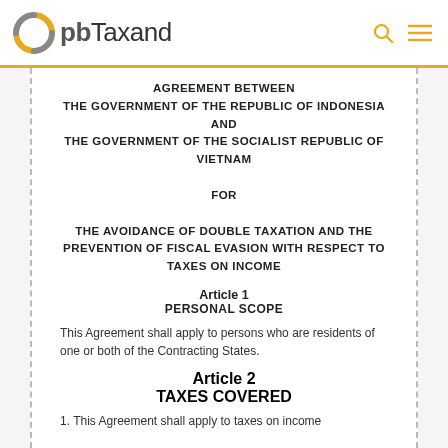pbTaxand
AGREEMENT BETWEEN THE GOVERNMENT OF THE REPUBLIC OF INDONESIA AND THE GOVERNMENT OF THE SOCIALIST REPUBLIC OF VIETNAM FOR THE AVOIDANCE OF DOUBLE TAXATION AND THE PREVENTION OF FISCAL EVASION WITH RESPECT TO TAXES ON INCOME
Article 1
PERSONAL SCOPE
This Agreement shall apply to persons who are residents of one or both of the Contracting States.
Article 2
TAXES COVERED
1. This Agreement shall apply to taxes on income